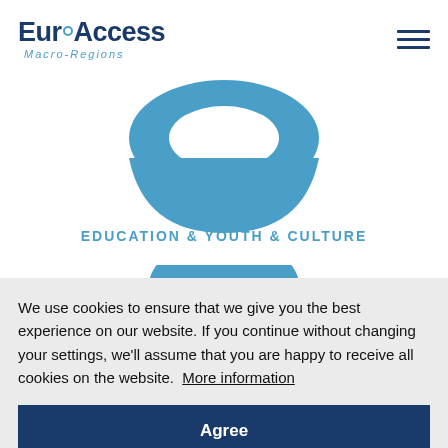EuroAccess Macro-Regions
[Figure (illustration): Blue donut/bowl shaped icon representing Education & Youth & Culture, partially visible at top]
EDUCATION & YOUTH & CULTURE
[Figure (illustration): Second blue icon partially visible below section header]
We use cookies to ensure that we give you the best experience on our website. If you continue without changing your settings, we'll assume that you are happy to receive all cookies on the website.  More information
Agree
[Figure (illustration): Third blue icon partially visible at bottom of page]